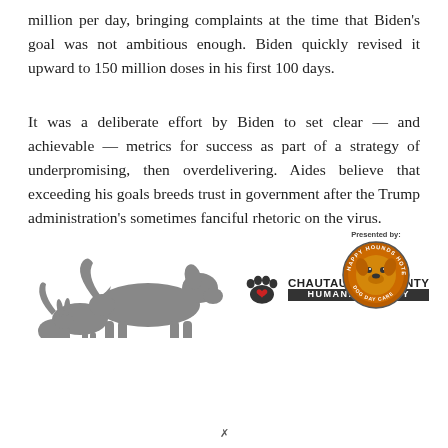million per day, bringing complaints at the time that Biden's goal was not ambitious enough. Biden quickly revised it upward to 150 million doses in his first 100 days.
It was a deliberate effort by Biden to set clear — and achievable — metrics for success as part of a strategy of underpromising, then overdelivering. Aides believe that exceeding his goals breeds trust in government after the Trump administration's sometimes fanciful rhetoric on the virus.
[Figure (logo): Chautauqua County Humane Society advertisement banner with animal silhouettes (dog, cat, rabbit) and a paw print logo with heart, plus a 'Presented by: Happy Hounds Hotel' circular logo badge on the right.]
x